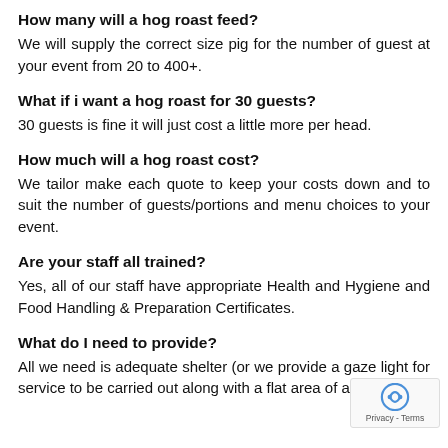How many will a hog roast feed?
We will supply the correct size pig for the number of guest at your event from 20 to 400+.
What if i want a hog roast for 30 guests?
30 guests is fine it will just cost a little more per head.
How much will a hog roast cost?
We tailor make each quote to keep your costs down and to suit the number of guests/portions and menu choices to your event.
Are your staff all trained?
Yes, all of our staff have appropriate Health and Hygiene and Food Handling & Preparation Certificates.
What do I need to provide?
All we need is adequate shelter (or we provide a gaze light for service to be carried out along with a flat area of a